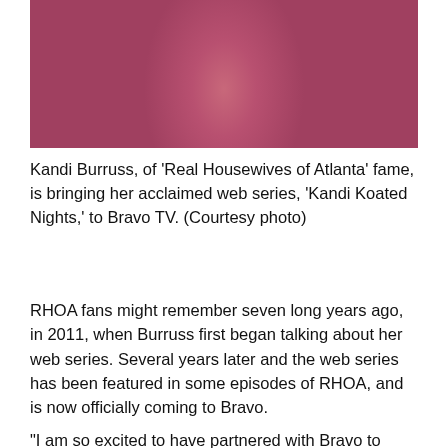[Figure (photo): Photo of Kandi Burruss wearing a pink/mauve bodysuit, torso and arms visible, long dark hair on sides]
Kandi Burruss, of 'Real Housewives of Atlanta' fame, is bringing her acclaimed web series, 'Kandi Koated Nights,' to Bravo TV. (Courtesy photo)
RHOA fans might remember seven long years ago, in 2011, when Burruss first began talking about her web series. Several years later and the web series has been featured in some episodes of RHOA, and is now officially coming to Bravo.
"I am so excited to have partnered with Bravo to